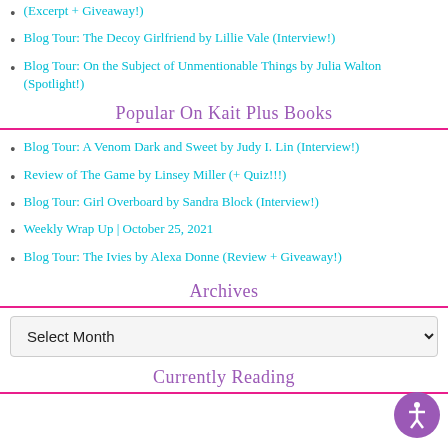(Excerpt + Giveaway!)
Blog Tour: The Decoy Girlfriend by Lillie Vale (Interview!)
Blog Tour: On the Subject of Unmentionable Things by Julia Walton (Spotlight!)
Popular On Kait Plus Books
Blog Tour: A Venom Dark and Sweet by Judy I. Lin (Interview!)
Review of The Game by Linsey Miller (+ Quiz!!!)
Blog Tour: Girl Overboard by Sandra Block (Interview!)
Weekly Wrap Up | October 25, 2021
Blog Tour: The Ivies by Alexa Donne (Review + Giveaway!)
Archives
Currently Reading